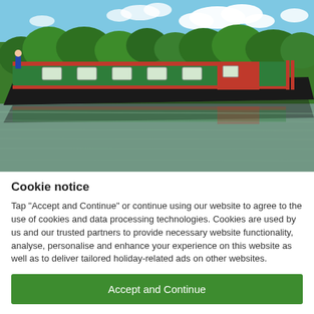[Figure (photo): A green and red narrowboat on a calm British canal with reflections in the water, lush green trees and blue sky with clouds in the background. A person is visible on the stern.]
Cookie notice
Tap "Accept and Continue" or continue using our website to agree to the use of cookies and data processing technologies. Cookies are used by us and our trusted partners to provide necessary website functionality, analyse, personalise and enhance your experience on this website as well as to deliver tailored holiday-related ads on other websites.
Accept and Continue